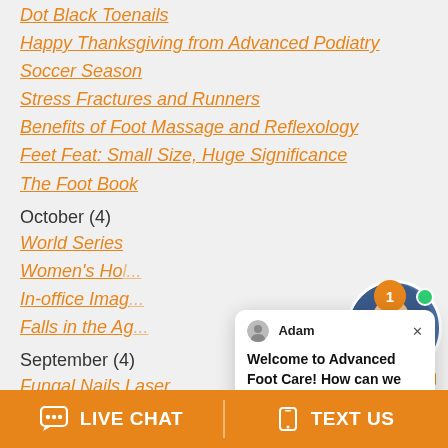Dot Black Toenails
Happy Thanksgiving from Advanced Podiatry
Soccer Season
Stress Fractures and Runners
Benefits of Foot Massage and Reflexology
Feet Feat: Small Size, Huge Significance
The Foot Book
October (4)
World Series
Women's Ho...
In-office Imag...
Falls in the Ag...
September (4)
Fungal Nails Laser
Soccer and Heel Pain in Children
Keep on moving with Advanced Podiatry
Causes of an Ingrown Toenail
[Figure (screenshot): Chat popup with agent named Adam saying: Welcome to Advanced Foot Care! How can we help you? with a close X button]
[Figure (photo): Online agent widget showing a smiling man with orange badge showing 1 and Online Agent label and green dot]
LIVE CHAT
TEXT US